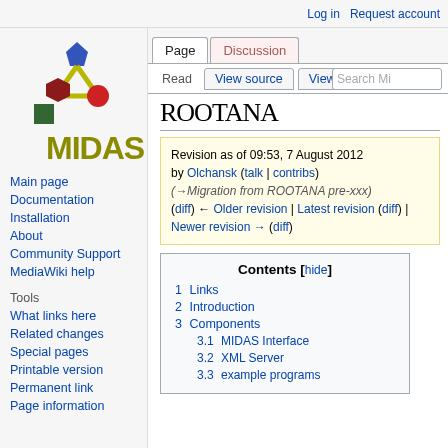Log in   Request account
[Figure (logo): MIDAS logo: colored geometric shapes (blue pentagon top, dark red hexagon, green square, red circle, yellow connectors) above bold yellow-green MIDAS text]
Main page
Documentation
Installation
About
Community Support
MediaWiki help
What links here
Related changes
Special pages
Printable version
Permanent link
Page information
ROOTANA
Revision as of 09:53, 7 August 2012 by Olchansk (talk | contribs) (→Migration from ROOTANA pre-xxx) (diff) ← Older revision | Latest revision (diff) | Newer revision → (diff)
| 1 | Links |
| 2 | Introduction |
| 3 | Components |
| 3.1 | MIDAS Interface |
| 3.2 | XML Server |
| 3.3 | example programs |